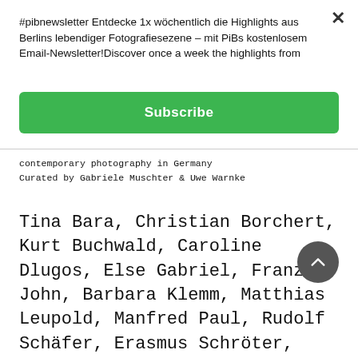#pibnewsletter Entdecke 1x wöchentlich die Highlights aus Berlins lebendiger Fotografiesezene – mit PiBs kostenlosem Email-Newsletter!Discover once a week the highlights from
[Figure (other): Green Subscribe button]
contemporary photography in Germany
Curated by Gabriele Muschter & Uwe Warnke
Tina Bara, Christian Borchert, Kurt Buchwald, Caroline Dlugos, Else Gabriel, Franz John, Barbara Klemm, Matthias Leupold, Manfred Paul, Rudolf Schäfer, Erasmus Schröter, Maria Sewcz